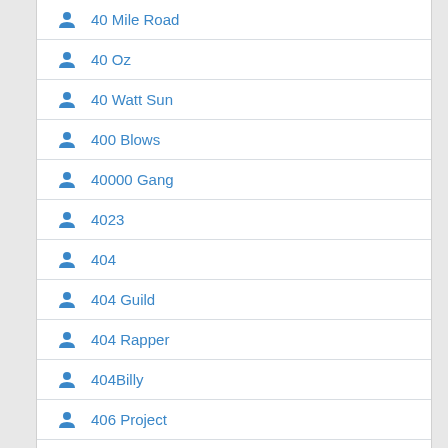40 Mile Road
40 Oz
40 Watt Sun
400 Blows
40000 Gang
4023
404
404 Guild
404 Rapper
404Billy
406 Project